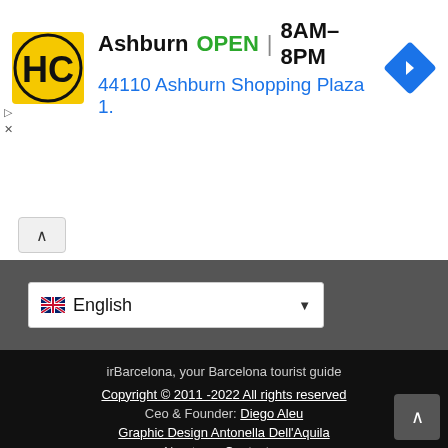[Figure (illustration): HC Store advertisement banner showing HC logo, Ashburn location, OPEN 8AM-8PM hours, address 44110 Ashburn Shopping Plaza 1., and navigation arrow icon]
[Figure (screenshot): Language selector dropdown showing UK flag and English with dropdown arrow, on gray background]
irBarcelona, your Barcelona tourist guide
Copyright © 2011 -2022 All rights reserved
Ceo & Founder: Diego Aleu
Graphic Design Antonella Dell'Aquila
About us - Contact us
Site map
Cookies Policy | Privacy Policy | Legal Information | C